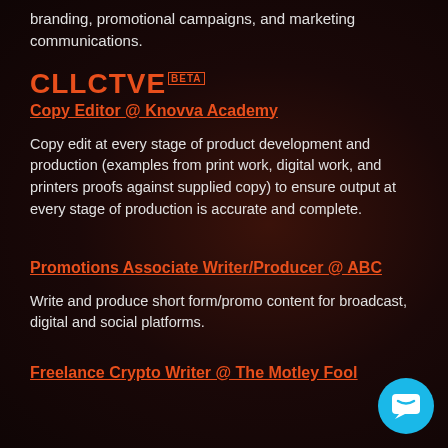branding, promotional campaigns, and marketing communications.
[Figure (logo): CLLCTVE BETA logo in orange/red text]
Copy Editor @ Knovva Academy
Copy edit at every stage of product development and production (examples from print work, digital work, and printers proofs against supplied copy) to ensure output at every stage of production is accurate and complete.
Promotions Associate Writer/Producer @ ABC
Write and produce short form/promo content for broadcast, digital and social platforms.
Freelance Crypto Writer @ The Motley Fool